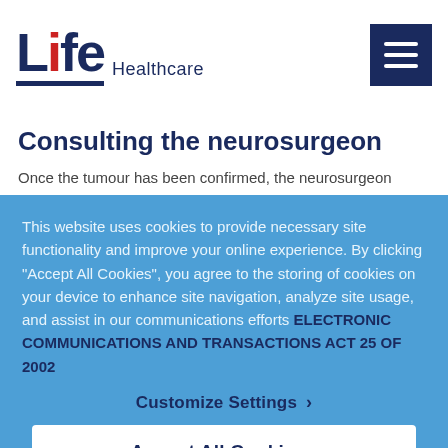Life Healthcare
Consulting the neurosurgeon
Once the tumour has been confirmed, the neurosurgeon takes on the decision-making regarding further therapy...
This website uses cookies to provide necessary site functionality and improve your online experience. By clicking “Accept All Cookies”, you agree to the storing of cookies on your device to enhance site navigation, analyze site usage, and assist in our communications efforts ELECTRONIC COMMUNICATIONS AND TRANSACTIONS ACT 25 OF 2002
Customize Settings ›
Accept All Cookies ›